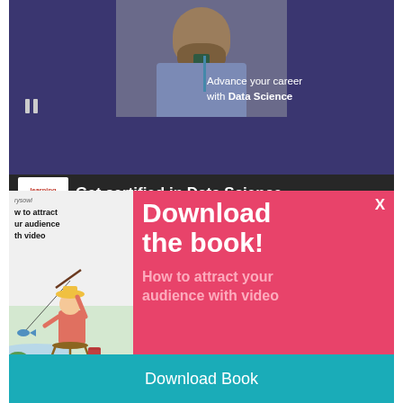[Figure (screenshot): Background webpage showing a video player with a man and text 'Advance your career with Data Science', and below a dark bar with 'learning people' logo and 'Get certified in Data Science' text.]
[Figure (screenshot): Pink modal popup overlay with book cover image of fisherman illustration, title 'Download the book!', subtitle 'How to attract your audience with video', a teal 'Download Book' button, and an X close button.]
Advance your career with Data Science
Get certified in Data Science
Download the book!
How to attract your audience with video
Download Book